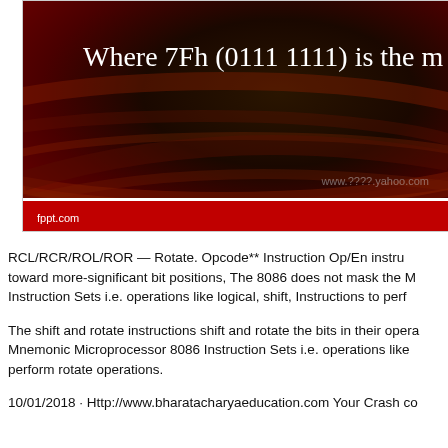[Figure (screenshot): Dark presentation slide with gradient background (olive/dark red), showing partial title text 'Where 7Fh (0111 1111) is the m...' in white serif font. Bottom has a red bar with 'fppt.com' label and a white decorative line above it. Watermark text visible at bottom right.]
RCL/RCR/ROL/ROR — Rotate. Opcode** Instruction Op/En instru... toward more-significant bit positions, The 8086 does not mask the M... Instruction Sets i.e. operations like logical, shift, Instructions to perf...
The shift and rotate instructions shift and rotate the bits in their opera... Mnemonic Microprocessor 8086 Instruction Sets i.e. operations like ... perform rotate operations.
10/01/2018 · Http://www.bharatacharyaeducation.com Your Crash co...